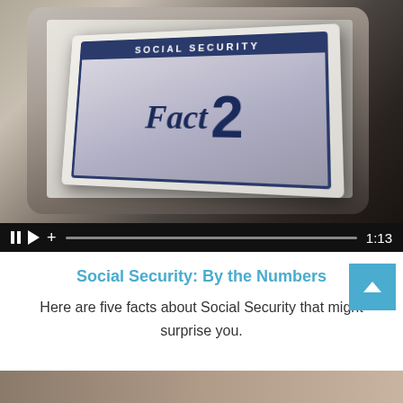[Figure (screenshot): Video thumbnail showing a Social Security card with 'Fact 2' written on it displayed on a tablet, with video playback controls showing pause, play, add buttons, a progress bar, and timestamp 1:13]
Social Security: By the Numbers
Here are five facts about Social Security that might surprise you.